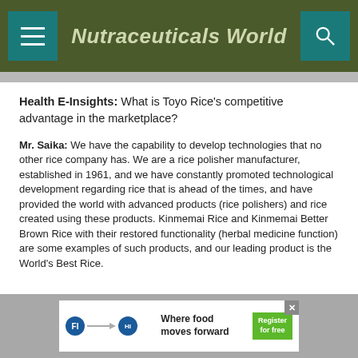Nutraceuticals World
Health E-Insights: What is Toyo Rice's competitive advantage in the marketplace?
Mr. Saika: We have the capability to develop technologies that no other rice company has. We are a rice polisher manufacturer, established in 1961, and we have constantly promoted technological development regarding rice that is ahead of the times, and have provided the world with advanced products (rice polishers) and rice created using these products. Kinmemai Rice and Kinmemai Better Brown Rice with their restored functionality (herbal medicine function) are some examples of such products, and our leading product is the World's Best Rice.
[Figure (infographic): Advertisement banner: 'Where food moves forward - Register for free' with FI and HI logos]